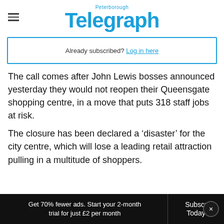Peterborough Telegraph
Already subscribed? Log in here
The call comes after John Lewis bosses announced yesterday they would not reopen their Queensgate shopping centre, in a move that puts 318 staff jobs at risk.
The closure has been declared a ‘disaster’ for the city centre, which will lose a leading retail attraction pulling in a multitude of shoppers.
Get 70% fewer ads. Start your 2-month trial for just £2 per month